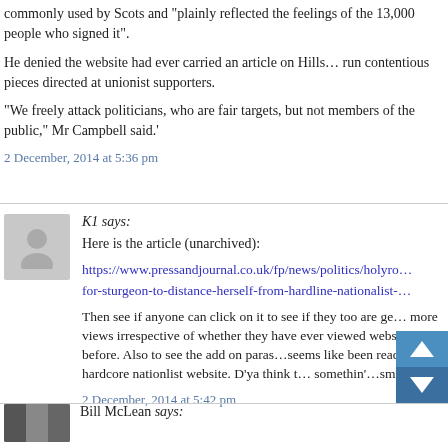commonly used by Scots and "plainly reflected the feelings of the 13,000 people who signed it".
He denied the website had ever carried an article on Hills… run contentious pieces directed at unionist supporters.
"We freely attack politicians, who are fair targets, but not members of the public," Mr Campbell said.'
2 December, 2014 at 5:36 pm
K1 says:
Here is the article (unarchived):
https://www.pressandjournal.co.uk/fp/news/politics/holyro… for-sturgeon-to-distance-herself-from-hardline-nationalist-…
Then see if anyone can click on it to see if they too are ge… more views irrespective of whether they have ever viewed website before. Also to see the add on paras…seems like been reading this hardcore nationlist website. D'ya think t… somethin'…smirk.
2 December, 2014 at 5:42 pm
Bill McLean says: